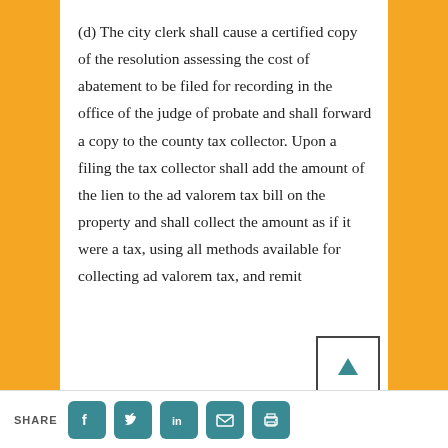(d) The city clerk shall cause a certified copy of the resolution assessing the cost of abatement to be filed for recording in the office of the judge of probate and shall forward a copy to the county tax collector. Upon a filing the tax collector shall add the amount of the lien to the ad valorem tax bill on the property and shall collect the amount as if it were a tax, using all methods available for collecting ad valorem tax, and remit
SHARE [Facebook] [Twitter] [LinkedIn] [Email] [Print]